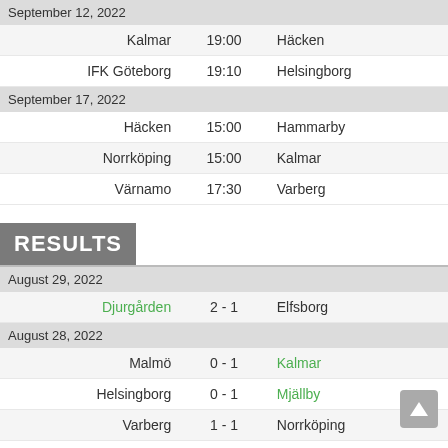| Home | Time | Away |
| --- | --- | --- |
| September 12, 2022 |  |  |
| Kalmar | 19:00 | Häcken |
| IFK Göteborg | 19:10 | Helsingborg |
| September 17, 2022 |  |  |
| Häcken | 15:00 | Hammarby |
| Norrköping | 15:00 | Kalmar |
| Värnamo | 17:30 | Varberg |
RESULTS
| Home | Score | Away |
| --- | --- | --- |
| August 29, 2022 |  |  |
| Djurgården | 2 - 1 | Elfsborg |
| August 28, 2022 |  |  |
| Malmö | 0 - 1 | Kalmar |
| Helsingborg | 0 - 1 | Mjällby |
| Varberg | 1 - 1 | Norrköping |
| IFK Göteborg | 2 - 0 | Sirius |
| AIK | 2 - 2 | Hammarby |